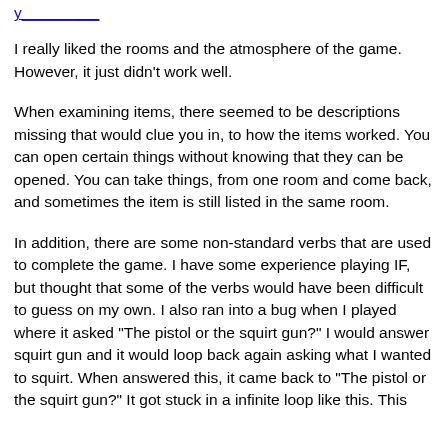[link stub at top]
I really liked the rooms and the atmosphere of the game. However, it just didn't work well.
When examining items, there seemed to be descriptions missing that would clue you in, to how the items worked. You can open certain things without knowing that they can be opened. You can take things, from one room and come back, and sometimes the item is still listed in the same room.
In addition, there are some non-standard verbs that are used to complete the game. I have some experience playing IF, but thought that some of the verbs would have been difficult to guess on my own. I also ran into a bug when I played where it asked "The pistol or the squirt gun?" I would answer squirt gun and it would loop back again asking what I wanted to squirt. When answered this, it came back to "The pistol or the squirt gun?" It got stuck in a infinite loop like this. This